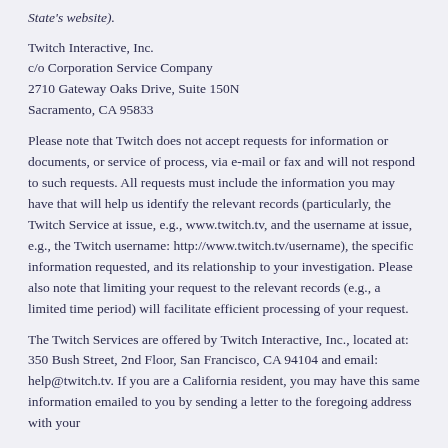State's website).
Twitch Interactive, Inc.
c/o Corporation Service Company
2710 Gateway Oaks Drive, Suite 150N
Sacramento, CA 95833
Please note that Twitch does not accept requests for information or documents, or service of process, via e-mail or fax and will not respond to such requests. All requests must include the information you may have that will help us identify the relevant records (particularly, the Twitch Service at issue, e.g., www.twitch.tv, and the username at issue, e.g., the Twitch username: http://www.twitch.tv/username), the specific information requested, and its relationship to your investigation. Please also note that limiting your request to the relevant records (e.g., a limited time period) will facilitate efficient processing of your request.
The Twitch Services are offered by Twitch Interactive, Inc., located at: 350 Bush Street, 2nd Floor, San Francisco, CA 94104 and email: help@twitch.tv. If you are a California resident, you may have this same information emailed to you by sending a letter to the foregoing address with your